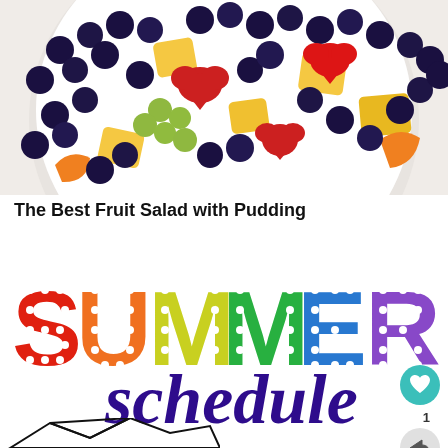[Figure (photo): Overhead photo of a white bowl filled with colorful fruit salad including blueberries, strawberries, pineapple chunks, and grapes on a marble surface]
The Best Fruit Salad with Pudding
[Figure (infographic): Colorful marquee-style letters spelling SUMMER in rainbow colors (red, orange, yellow, green, blue, purple) with white dot cutouts, overlaid with cursive dark purple text reading 'schedule']
[Figure (illustration): Partial view of mountain peak illustration at bottom of page]